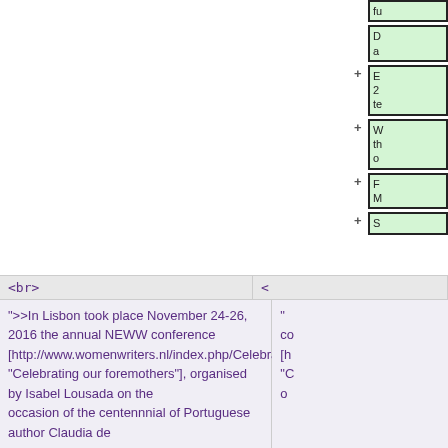fu
D a
E 2 te
W th o
F M
S
<br>
<
">>In Lisbon took place November 24-26, 2016 the annual NEWW conference [http://www.womenwriters.nl/index.php/Celebrating_our_foremothers "Celebrating our foremothers"], organised by Isabel Lousada on the occasion of the centennnial of Portuguese author Claudia de
" co [h "C o